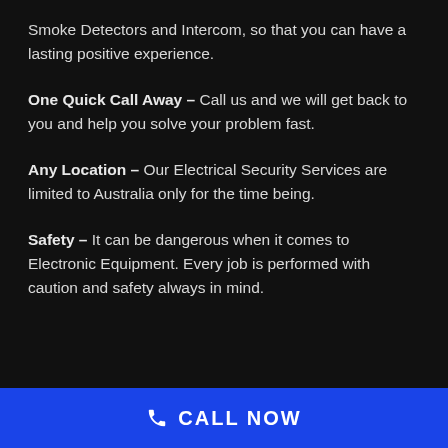Smoke Detectors and Intercom, so that you can have a lasting positive experience.
One Quick Call Away – Call us and we will get back to you and help you solve your problem fast.
Any Location – Our Electrical Security Services are limited to Australia only for the time being.
Safety – It can be dangerous when it comes to Electronic Equipment. Every job is performed with caution and safety always in mind.
CALL NOW